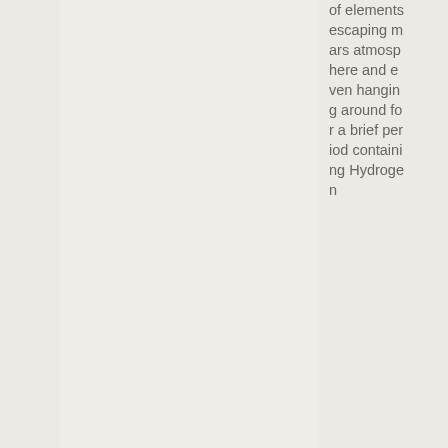of elements escaping mars atmosphere and even hanging around for a brief period containing Hydrogen